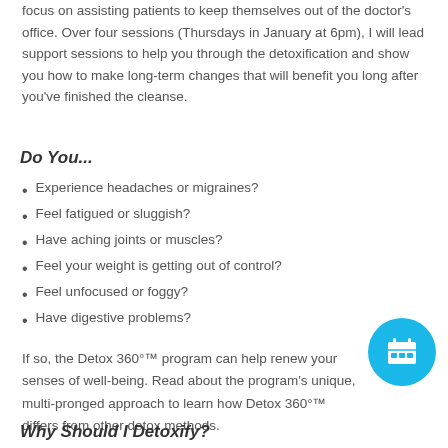focus on assisting patients to keep themselves out of the doctor's office. Over four sessions (Thursdays in January at 6pm), I will lead support sessions to help you through the detoxification and show you how to make long-term changes that will benefit you long after you've finished the cleanse.
Do You...
Experience headaches or migraines?
Feel fatigued or sluggish?
Have aching joints or muscles?
Feel your weight is getting out of control?
Feel unfocused or foggy?
Have digestive problems?
If so, the Detox 360°™ program can help renew your sense of well-being. Read about the program's unique, multi-pronged approach to learn how Detox 360°™ differs from other detox methods.
Why Should I Detoxify?